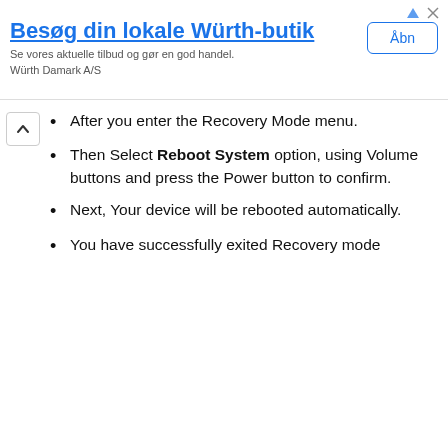[Figure (other): Advertisement banner for Würth-butik with title 'Besøg din lokale Würth-butik', subtitle 'Se vores aktuelle tilbud og gør en god handel. Würth Damark A/S', and an 'Åbn' button.]
After you enter the Recovery Mode menu.
Then Select Reboot System option, using Volume buttons and press the Power button to confirm.
Next, Your device will be rebooted automatically.
You have successfully exited Recovery mode